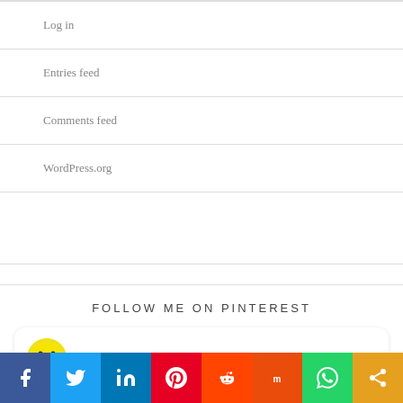Log in
Entries feed
Comments feed
WordPress.org
FOLLOW ME ON PINTEREST
[Figure (screenshot): Pinterest widget showing user Bindu Gopal Rao with a smiley face avatar, a photo collage, a globe icon, and a food image]
[Figure (infographic): Social sharing bar with icons for Facebook, Twitter, LinkedIn, Pinterest, Reddit, Mix, WhatsApp, and Share]